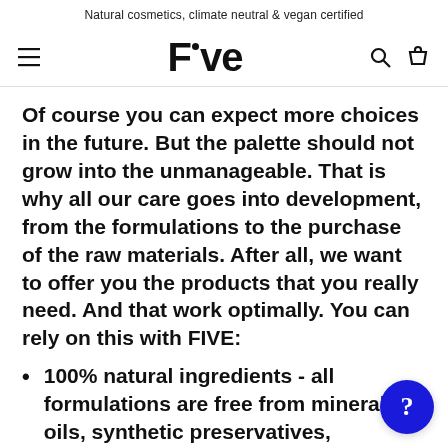Natural cosmetics, climate neutral & vegan certified
[Figure (logo): Five cosmetics brand logo with hamburger menu, search icon, and cart icon in navigation bar]
Of course you can expect more choices in the future. But the palette should not grow into the unmanageable. That is why all our care goes into development, from the formulations to the purchase of the raw materials. After all, we want to offer you the products that you really need. And that work optimally. You can rely on this with FIVE:
100% natural ingredients - all formulations are free from mineral oils, synthetic preservatives, parabens